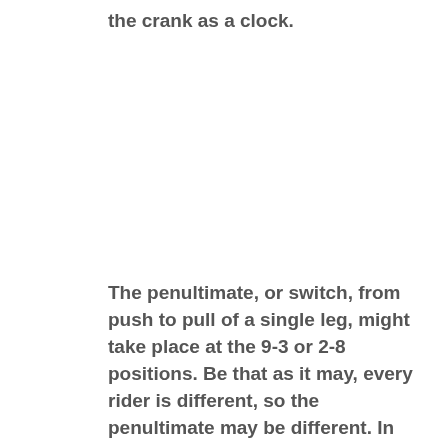the crank as a clock.
The penultimate, or switch, from push to pull of a single leg, might take place at the 9-3 or 2-8 positions. Be that as it may, every rider is different, so the penultimate may be different. In other words, as your foot rounds the 9 position, switch from pushing down to pulling